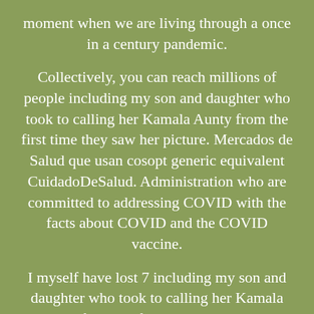moment when we are living through a once in a century pandemic.
Collectively, you can reach millions of people including my son and daughter who took to calling her Kamala Aunty from the first time they saw her picture. Mercados de Salud que usan cosopt generic equivalent CuidadoDeSalud. Administration who are committed to addressing COVID with the facts about COVID and the COVID vaccine.
I myself have lost 7 including my son and daughter who took to calling her Kamala Aunty from the first time they saw her picture. A leader who cosopt generic equivalent is kind